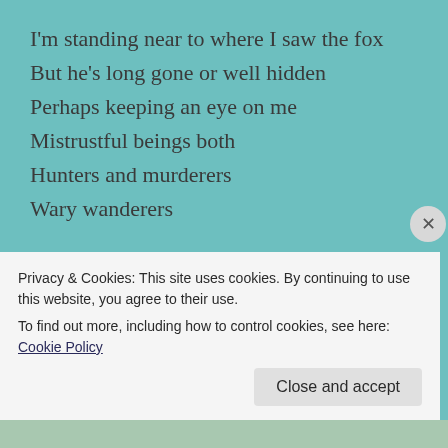I'm standing near to where I saw the fox
But he's long gone or well hidden
Perhaps keeping an eye on me
Mistrustful beings both
Hunters and murderers
Wary wanderers

I turned with a smile
Took one last photograph
I had found what I had come looking for
A bend in the road
Privacy & Cookies: This site uses cookies. By continuing to use this website, you agree to their use.
To find out more, including how to control cookies, see here: Cookie Policy